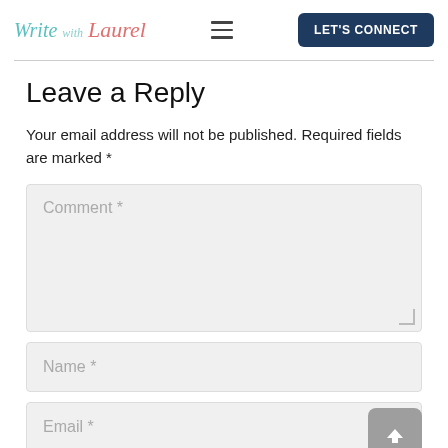Write with Laurel — LET'S CONNECT
Leave a Reply
Your email address will not be published. Required fields are marked *
[Figure (screenshot): Comment text area input field with placeholder text 'Comment *']
[Figure (screenshot): Name input field with placeholder text 'Name *']
[Figure (screenshot): Email input field with placeholder text 'Email *']